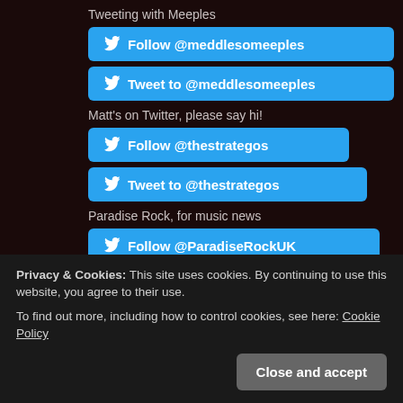Tweeting with Meeples
Follow @meddlesomeeples
Tweet to @meddlesomeeples
Matt's on Twitter, please say hi!
Follow @thestrategos
Tweet to @thestrategos
Paradise Rock, for music news
Follow @ParadiseRockUK
Tweet to @ParadiseRockUK
Guest Contributors
Would you like to write a guest article for our website? If so,
love of the game.
Privacy & Cookies: This site uses cookies. By continuing to use this website, you agree to their use.
To find out more, including how to control cookies, see here: Cookie Policy
Close and accept